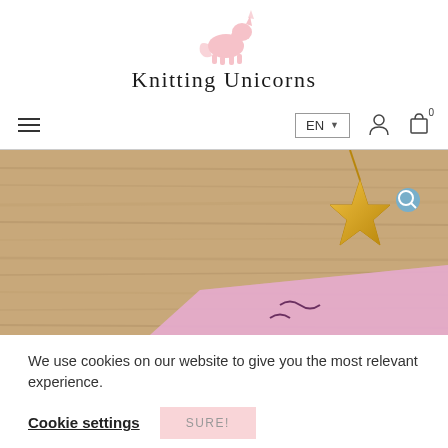[Figure (logo): Pink unicorn silhouette logo above site title]
Knitting Unicorns
[Figure (screenshot): Navigation bar with hamburger menu on left, EN language selector, person icon, and shopping bag icon with 0 badge on right]
[Figure (photo): Hero image showing a wooden background with a gold star charm pendant and a pink paper/card partially visible at bottom]
We use cookies on our website to give you the most relevant experience.
Cookie settings
SURE!